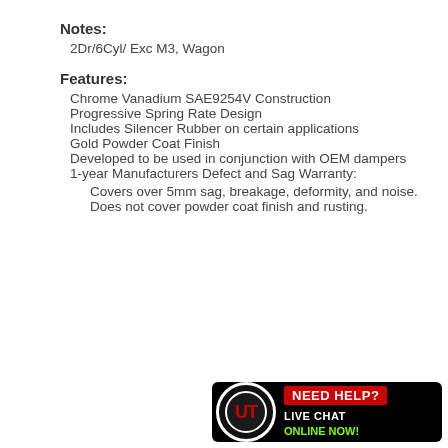Notes:
2Dr/6Cyl/ Exc M3, Wagon
Features:
Chrome Vanadium SAE9254V Construction
Progressive Spring Rate Design
Includes Silencer Rubber on certain applications
Gold Powder Coat Finish
Developed to be used in conjunction with OEM dampers
1-year Manufacturers Defect and Sag Warranty:
Covers over 5mm sag, breakage, deformity, and noise.
Does not cover powder coat finish and rusting.
[Figure (logo): Ultima Racing / UT logo banner with 'NEED HELP? LIVE CHAT ONLINE NOW!' text on black background]